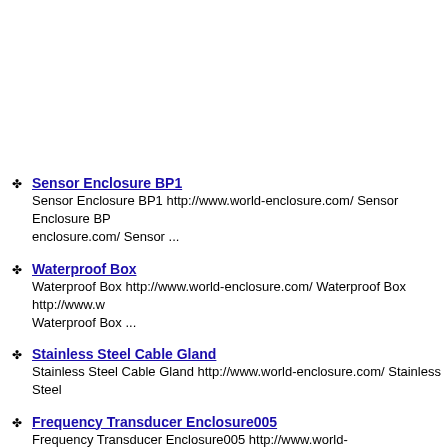Sensor Enclosure BP1
Sensor Enclosure BP1 http://www.world-enclosure.com/ Sensor Enclosure BP enclosure.com/ Sensor ...
Waterproof Box
Waterproof Box http://www.world-enclosure.com/ Waterproof Box http://www.w Waterproof Box ...
Stainless Steel Cable Gland
Stainless Steel Cable Gland http://www.world-enclosure.com/ Stainless Steel
Frequency Transducer Enclosure005
Frequency Transducer Enclosure005 http://www.world-enclosure.com/Freque
Free Screw-type
Free Screw-type http://www.world-enclosure.com/ Free Screw-type http://www Screw-type ...
Stainless Steel EnclosureS001
Stainless Steel EnclosureS001 http://www.world-enclosure.com/Stainless Ste
Vortex Flow Sensor Enclosure
Vortex Flow Sensor Enclosure http://www.world-enclosure.com/ Vortex Flow S